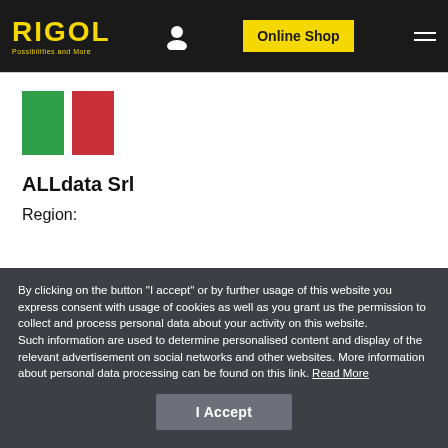RIGOL | Possibilities and More | Online Shop
[Figure (illustration): Italian flag (green and red vertical stripes, white stripe missing/cropped) displayed as two rectangles]
ALLdata Srl
Region:
By clicking on the button "I accept" or by further usage of this website you express consent with usage of cookies as well as you grant us the permission to collect and process personal data about your activity on this website.
Such information are used to determine personalised content and display of the relevant advertisement on social networks and other websites. More information about personal data processing can be found on this link. Read More